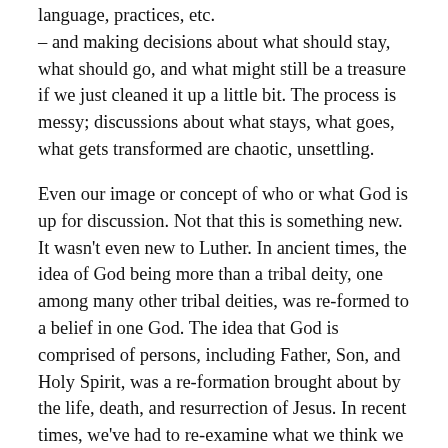language, practices, etc. – and making decisions about what should stay, what should go, and what might still be a treasure if we just cleaned it up a little bit. The process is messy; discussions about what stays, what goes, what gets transformed are chaotic, unsettling.
Even our image or concept of who or what God is up for discussion. Not that this is something new. It wasn't even new to Luther. In ancient times, the idea of God being more than a tribal deity, one among many other tribal deities, was re-formed to a belief in one God. The idea that God is comprised of persons, including Father, Son, and Holy Spirit, was a re-formation brought about by the life, death, and resurrection of Jesus. In recent times, we've had to re-examine what we think we know about God in light of what people of other religions think they know about God. Those who have declared